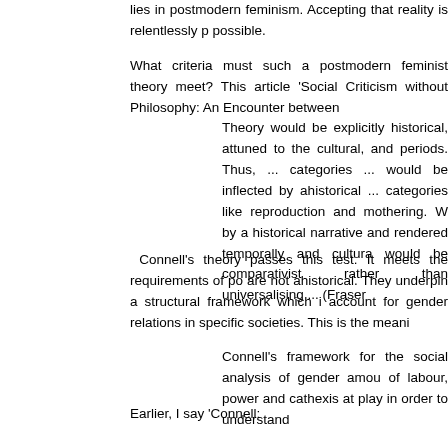lies in postmodern feminism. Accepting that reality is relentlessly possible.
What criteria must such a postmodern feminist theory meet? This article 'Social Criticism without Philosophy: An Encounter between
Theory would be explicitly historical, attuned to the cultural, and periods. Thus, ... categories ... would be inflected by ahistorical ... categories like reproduction and mothering. W by a historical narrative and rendered temporally and cultura would be comparativist rather than universalising ... (Fraser
Connell's theory passes this test. It meets the requirements of po are not ahistorical. They underpin a structural framework which i account for gender relations in specific societies. This is the meani
Connell's framework for the social analysis of gender amou of labour, power and cathexis at play in order to understand
Earlier, I say 'Connell:
... attempts to account for gender relations in terms of histo origins, roots, causes or final analyses, questions rooted in difficult one of how gender relations are organised as a goin
So when Walker asks:
Should we, following her [Maharaj] take as given that labou southern Africa - or should we steadfastly refuse to be locke in quite different social, cultural and historical contexts from